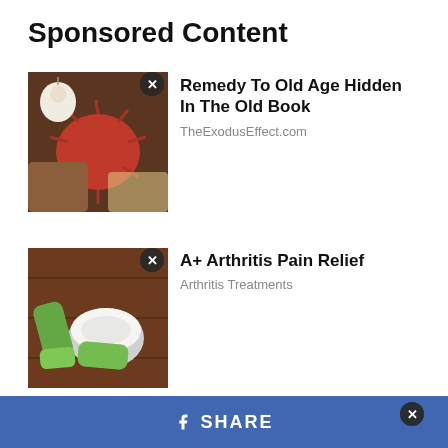Sponsored Content
[Figure (photo): Hand holding rambutan fruit with garlic clove — thumbnail for sponsored ad]
Remedy To Old Age Hidden In The Old Book
TheExodusEffect.com
[Figure (photo): Aloe vera slices with cream in bowl on wooden surface — thumbnail for sponsored ad]
A+ Arthritis Pain Relief
Arthritis Treatments
[Figure (photo): Partial view of person in athletic wear — bottom banner ad]
f  SHARE